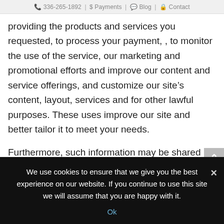336-265-1892 | $Payments | Blog | Contact
providing the products and services you requested, to process your payment, , to monitor the use of the service, our marketing and promotional efforts and improve our content and service offerings, and customize our site’s content, layout, services and for other lawful purposes. These uses improve our site and better tailor it to meet your needs.
Furthermore, such information may be shared with others on an aggregate basis. Personally identifiable information or business information will not be shared with parties except as required by law.
Occasionally, we may also use the information we
We use cookies to ensure that we give you the best experience on our website. If you continue to use this site we will assume that you are happy with it.
Ok